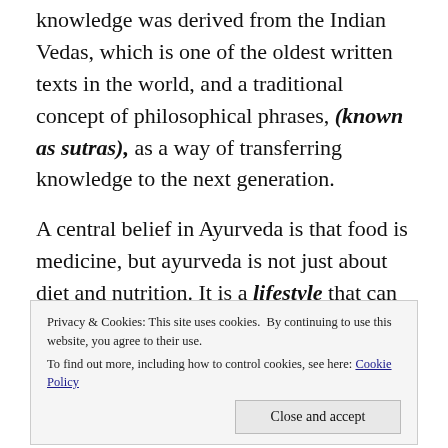knowledge was derived from the Indian Vedas, which is one of the oldest written texts in the world, and a traditional concept of philosophical phrases, (known as sutras), as a way of transferring knowledge to the next generation.

A central belief in Ayurveda is that food is medicine, but ayurveda is not just about diet and nutrition. It is a lifestyle that can include diet, maintaining a daily routine, the elimination of bodily toxins, aromatherapy, yoga, meditation
Privacy & Cookies: This site uses cookies. By continuing to use this website, you agree to their use.
To find out more, including how to control cookies, see here: Cookie Policy
Close and accept
dosha specific guidance.